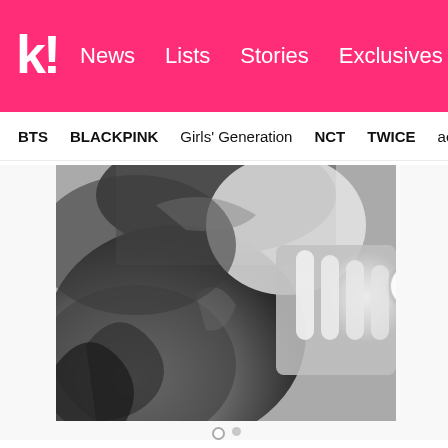k! News  Lists  Stories  Exclusives
BTS  BLACKPINK  Girls' Generation  NCT  TWICE  aespa
[Figure (photo): Black and white close-up photo of a person with dark hair wearing a fuzzy/furry coat, hand raised near face with fingers extended]
View more on Instagram
[Figure (other): Social media action icons: heart (like), comment bubble, share/upload arrow, and bookmark]